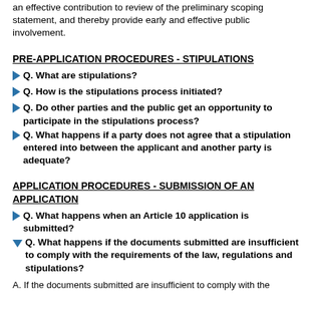an effective contribution to review of the preliminary scoping statement, and thereby provide early and effective public involvement.
PRE-APPLICATION PROCEDURES - STIPULATIONS
Q. What are stipulations?
Q. How is the stipulations process initiated?
Q. Do other parties and the public get an opportunity to participate in the stipulations process?
Q. What happens if a party does not agree that a stipulation entered into between the applicant and another party is adequate?
APPLICATION PROCEDURES - SUBMISSION OF AN APPLICATION
Q. What happens when an Article 10 application is submitted?
Q. What happens if the documents submitted are insufficient to comply with the requirements of the law, regulations and stipulations?
A. If the documents submitted are insufficient to comply with the